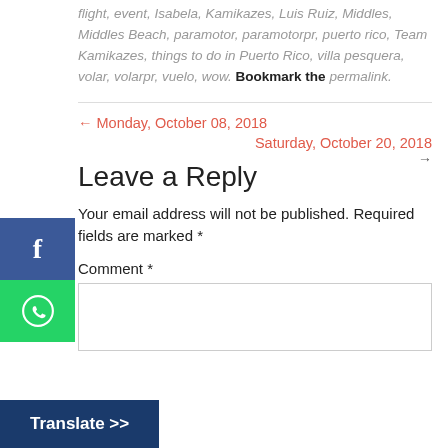flight, event, Isabela, Kamikazes, Luis Ruiz, Middles, Middles Beach, paramotor, paramotorpr, puerto rico, Team Kamikazes, things to do in Puerto Rico, villa pesquera, volar, volarpr, vuelo, wow. Bookmark the permalink.
← Monday, October 08, 2018
Saturday, October 20, 2018 →
Leave a Reply
Your email address will not be published. Required fields are marked *
Comment *